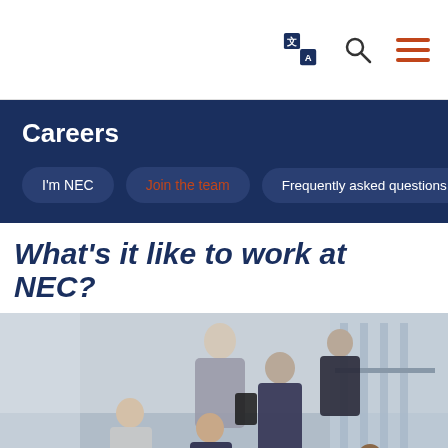Navigation bar with translate, search, and menu icons
Careers
I'm NEC
Join the team
Frequently asked questions
What's it like to work at NEC?
[Figure (photo): Group of business professionals in formal attire gathered and conversing in a modern office building, viewed from above, near a glass staircase railing.]